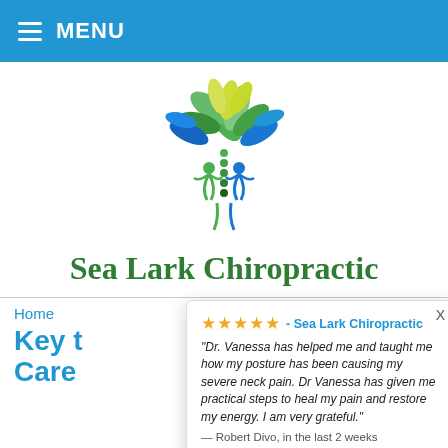MENU
[Figure (logo): Sea Lark Chiropractic logo: stylized tree made of green and blue leaves with a chiropractic spine and two human figures in blue and green]
Sea Lark Chiropractic
Home
Key t… Care…
★★★★★ - Sea Lark Chiropractic
"Dr. Vanessa has helped me and taught me how my posture has been causing my severe neck pain. Dr Vanessa has given me practical steps to heal my pain and restore my energy. I am very grateful."
— Robert Divo, in the last 2 weeks
by Review Wave